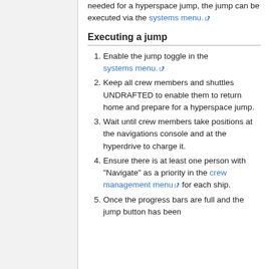needed for a hyperspace jump, the jump can be executed via the systems menu.
Executing a jump
Enable the jump toggle in the systems menu.
Keep all crew members and shuttles UNDRAFTED to enable them to return home and prepare for a hyperspace jump.
Wait until crew members take positions at the navigations console and at the hyperdrive to charge it.
Ensure there is at least one person with "Navigate" as a priority in the crew management menu for each ship.
Once the progress bars are full and the jump button has been